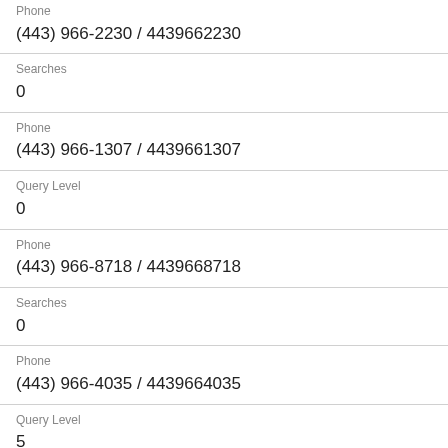Phone
(443) 966-2230 / 4439662230
Searches
0
Phone
(443) 966-1307 / 4439661307
Query Level
0
Phone
(443) 966-8718 / 4439668718
Searches
0
Phone
(443) 966-4035 / 4439664035
Query Level
5
Phone
(443) 966-6074 / 4439666074
Searches